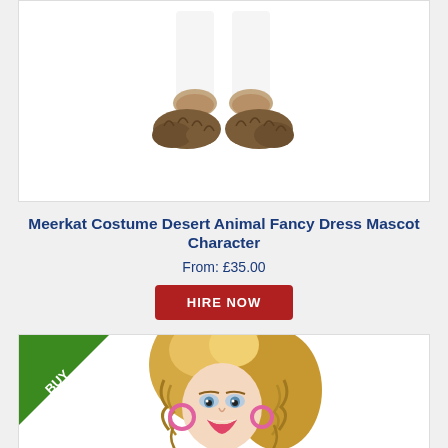[Figure (photo): Bottom portion of a meerkat mascot costume showing white legs/trousers and brown furry feet/shoe covers on white background]
Meerkat Costume Desert Animal Fancy Dress Mascot Character
From: £35.00
HIRE NOW
[Figure (photo): Woman wearing 80s style costume with big curly blonde hair, pink hoop earrings, and black t-shirt with colorful 'I Love' text graphic. Green triangular 'BUY' badge in top-left corner of product image.]